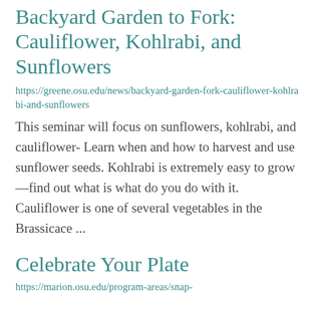Backyard Garden to Fork: Cauliflower, Kohlrabi, and Sunflowers
https://greene.osu.edu/news/backyard-garden-fork-cauliflower-kohlrabi-and-sunflowers
This seminar will focus on sunflowers, kohlrabi, and cauliflower- Learn when and how to harvest and use sunflower seeds. Kohlrabi is extremely easy to grow—find out what is what do you do with it. Cauliflower is one of several vegetables in the Brassicace ...
Celebrate Your Plate
https://marion.osu.edu/program-areas/snap-